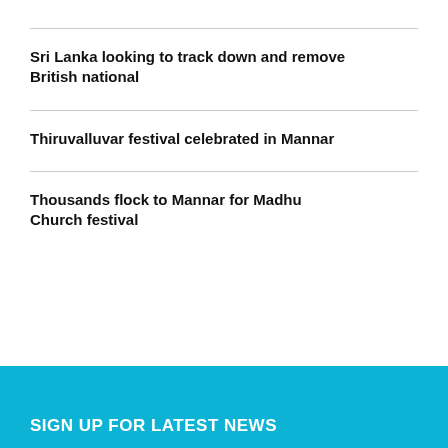Sri Lanka looking to track down and remove British national
Thiruvalluvar festival celebrated in Mannar
Thousands flock to Mannar for Madhu Church festival
SIGN UP FOR LATEST NEWS